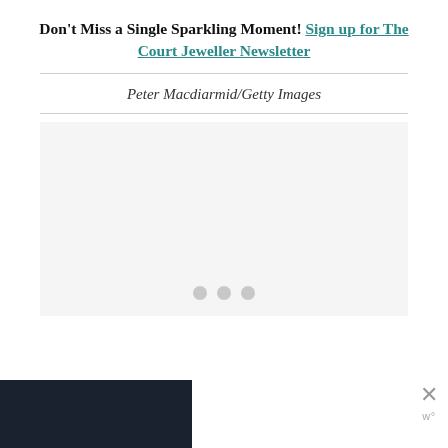Don't Miss a Single Sparkling Moment! Sign up for The Court Jeweller Newsletter
Peter Macdiarmid/Getty Images
[Figure (photo): Placeholder image area with loading dots indicating an image carousel or slideshow]
[Figure (screenshot): Advertisement banner at bottom of page with dark background and close button (X) with 'w°' label]